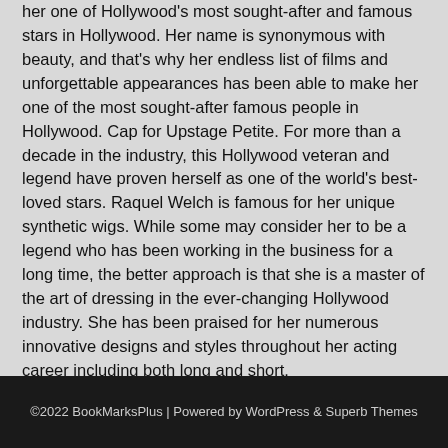her one of Hollywood's most sought-after and famous stars in Hollywood. Her name is synonymous with beauty, and that's why her endless list of films and unforgettable appearances has been able to make her one of the most sought-after famous people in Hollywood. Cap for Upstage Petite. For more than a decade in the industry, this Hollywood veteran and legend have proven herself as one of the world's best-loved stars. Raquel Welch is famous for her unique synthetic wigs. While some may consider her to be a legend who has been working in the business for a long time, the better approach is that she is a master of the art of dressing in the ever-changing Hollywood industry. She has been praised for her numerous innovative designs and styles throughout her acting career including both long and short.
©2022 BookMarksPlus | Powered by WordPress & Superb Themes